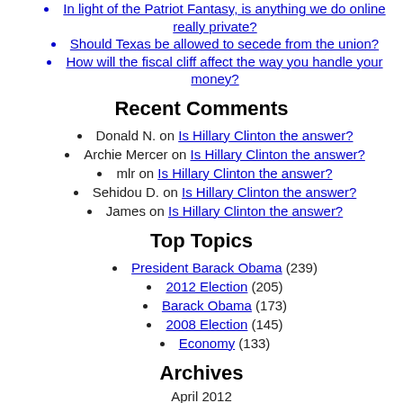In light of the Patriot Fantasy, is anything we do online really private?
Should Texas be allowed to secede from the union?
How will the fiscal cliff affect the way you handle your money?
Recent Comments
Donald N. on Is Hillary Clinton the answer?
Archie Mercer on Is Hillary Clinton the answer?
mlr on Is Hillary Clinton the answer?
Sehidou D. on Is Hillary Clinton the answer?
James on Is Hillary Clinton the answer?
Top Topics
President Barack Obama (239)
2012 Election (205)
Barack Obama (173)
2008 Election (145)
Economy (133)
Archives
April 2012